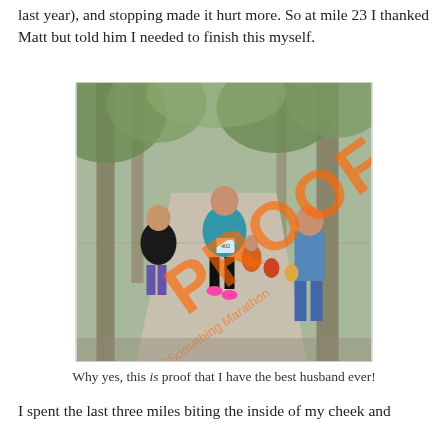last year), and stopping made it hurt more. So at mile 23 I thanked Matt but told him I needed to finish this myself.
[Figure (photo): Marathon race photo with PROOF watermark. Several runners on a tree-lined path. A woman in a teal top and race bib is prominent in the center; another woman in black to her left; a man in a blue shirt and jeans on the right side.]
Why yes, this is proof that I have the best husband ever!
I spent the last three miles biting the inside of my cheek and